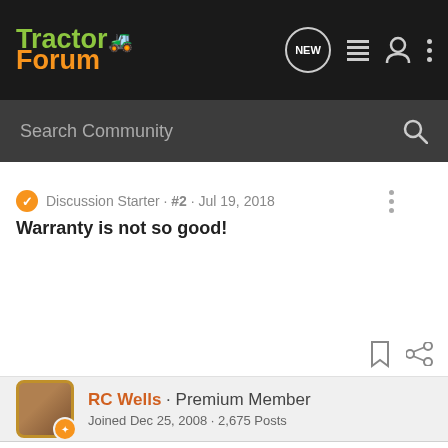Tractor Forum
Search Community
Discussion Starter · #2 · Jul 19, 2018
Warranty is not so good!
RC Wells · Premium Member
Joined Dec 25, 2008 · 2,675 Posts
#3 · Jul 20, 2018